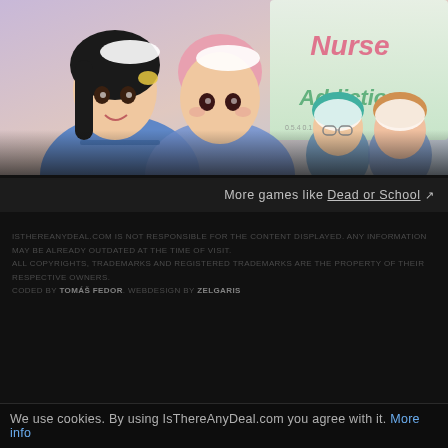[Figure (illustration): Anime-style illustration showing nurse characters from a visual novel game. Two main characters in foreground wearing blue nurse uniforms with white aprons and nurse caps. Background shows a sign reading 'Nurse Addiction'. Two smaller characters visible on right side.]
More games like Dead or School ↗
ISTHEREANYDEAL.COM IS NOT RESPONSIBLE FOR THE CONTENT DISPLAYED. ANY INFORMATION MAY BE ALREADY OUTDATED AT THE TIME OF VISIT.
ALL COPYRIGHTS, TRADEMARKS AND REGISTERED TRADEMARKS ARE THE PROPERTY OF THEIR RESPECTIVE OWNERS.
CODED BY TOMÁŠ FEDOR. WEBDESIGN BY ZELGARIS
We use cookies. By using IsThereAnyDeal.com you agree with it. More info